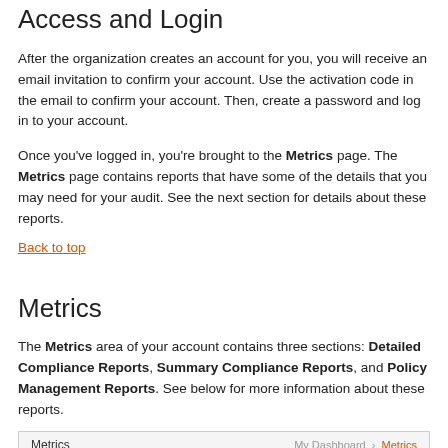Access and Login
After the organization creates an account for you, you will receive an email invitation to confirm your account. Use the activation code in the email to confirm your account. Then, create a password and log in to your account.
Once you've logged in, you're brought to the Metrics page. The Metrics page contains reports that have some of the details that you may need for your audit. See the next section for details about these reports.
Back to top
Metrics
The Metrics area of your account contains three sections: Detailed Compliance Reports, Summary Compliance Reports, and Policy Management Reports. See below for more information about these reports.
[Figure (screenshot): Screenshot of the Metrics page header showing 'Metrics' label on the left and 'My Dashboard > Metrics' navigation on the right, with orange circle icons along the bottom.]